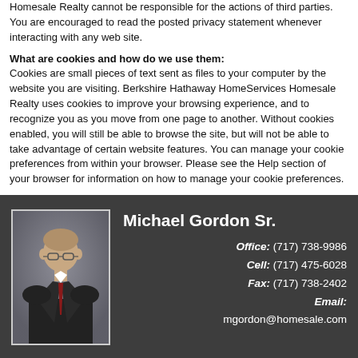Homesale Realty cannot be responsible for the actions of third parties. You are encouraged to read the posted privacy statement whenever interacting with any web site.
What are cookies and how do we use them:
Cookies are small pieces of text sent as files to your computer by the website you are visiting. Berkshire Hathaway HomeServices Homesale Realty uses cookies to improve your browsing experience, and to recognize you as you move from one page to another. Without cookies enabled, you will still be able to browse the site, but will not be able to take advantage of certain website features. You can manage your cookie preferences from within your browser. Please see the Help section of your browser for information on how to manage your cookie preferences.
[Figure (photo): Professional headshot of Michael Gordon Sr., a man in a dark suit with a tie, wearing glasses, photographed against a grey background.]
Michael Gordon Sr. Office: (717) 738-9986 Cell: (717) 475-6028 Fax: (717) 738-2402 Email: mgordon@homesale.com